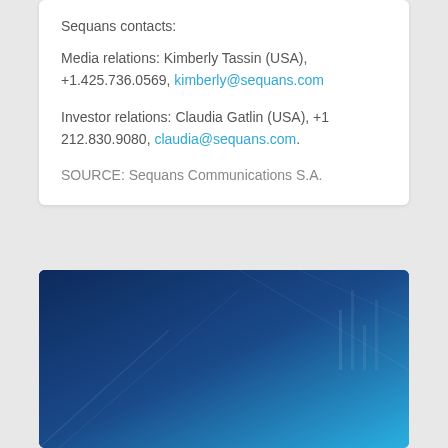Sequans contacts:
Media relations: Kimberly Tassin (USA), +1.425.736.0569, kimberly@sequans.com
Investor relations: Claudia Gatlin (USA), +1 212.830.9080, claudia@sequans.com.
SOURCE: Sequans Communications S.A.
[Figure (illustration): Blue banner image with text 'Your Favorite 5G/4G IoT Tech Terms Defined' on a dark blue technology background with circuit board patterns]